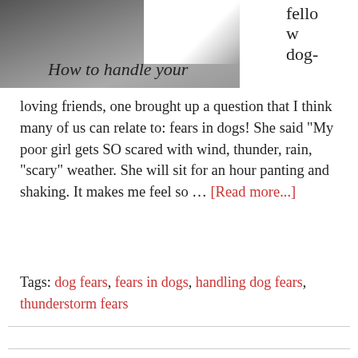[Figure (photo): A photo of a dog with overlay text 'How to handle your' and sidebar text 'fellow dog-loving']
loving friends, one brought up a question that I think many of us can relate to: fears in dogs! She said "My poor girl gets SO scared with wind, thunder, rain, "scary" weather. She will sit for an hour panting and shaking. It makes me feel so ... [Read more...]
Tags: dog fears, fears in dogs, handling dog fears, thunderstorm fears